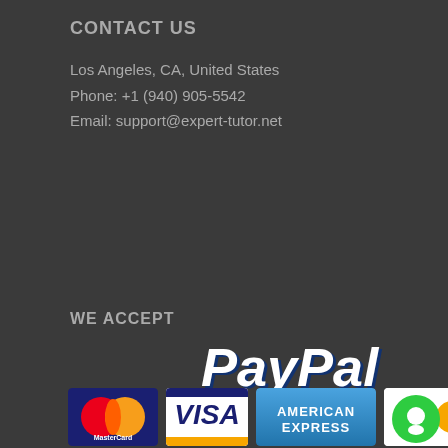CONTACT US
Los Angeles, CA, United States
Phone: +1 (940) 905-5542
Email: support@expert-tutor.net
WE ACCEPT
[Figure (logo): PayPal logo in white and dark blue italic bold text]
[Figure (logo): MasterCard, Visa, American Express, and Discover card payment logos]